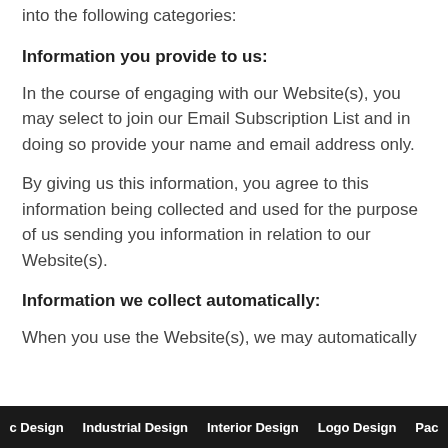into the following categories:
Information you provide to us:
In the course of engaging with our Website(s), you may select to join our Email Subscription List and in doing so provide your name and email address only.
By giving us this information, you agree to this information being collected and used for the purpose of us sending you information in relation to our Website(s).
Information we collect automatically:
When you use the Website(s), we may automatically
c Design    Industrial Design    Interior Design    Logo Design    Pac